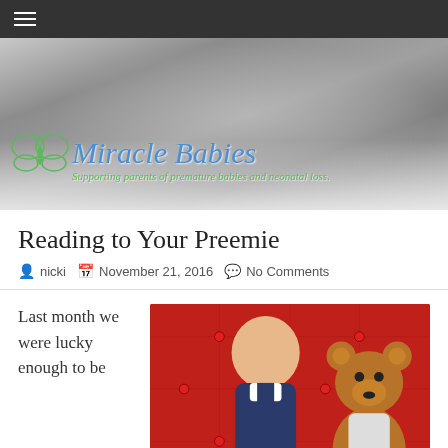Miracle Babies — Supporting parents of premature babies and neonatal loss.
[Figure (photo): Website header banner with grayscale photo of premature baby hands/feet with medical equipment, overlaid with Miracle Babies logo (butterfly graphic, blue cursive title 'Miracle Babies', green cursive subtitle 'Supporting parents of premature babies and neonatal loss.')]
Reading to Your Preemie
nicki   November 21, 2016   No Comments
Last month we were lucky enough to be
[Figure (photo): Color photo of a baby/infant sitting on a red tufted leather chair, looking downward, wearing a navy blue vest, next to a brown teddy bear wearing a white outfit.]